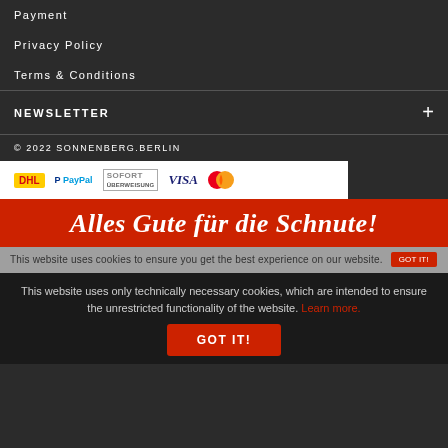Payment
Privacy Policy
Terms & Conditions
NEWSLETTER
© 2022 SONNENBERG.BERLIN
[Figure (other): Payment method logos: DHL, PayPal, SOFORT, VISA, Mastercard]
[Figure (other): Red banner with cursive white text: Alles Gute für die Schnute!]
This website uses cookies to ensure you get the best experience on our website.
This website uses only technically necessary cookies, which are intended to ensure the unrestricted functionality of the website. Learn more.
GOT IT!